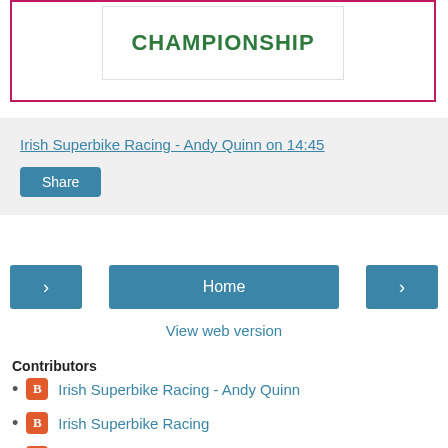[Figure (other): Championship logo/banner in a bordered box with text CHAMPIONSHIP in green bold letters on white background inside a pink/red border box]
Irish Superbike Racing - Andy Quinn on 14:45
Share
Home
View web version
Contributors
Irish Superbike Racing - Andy Quinn
Irish Superbike Racing
Pete The Greek